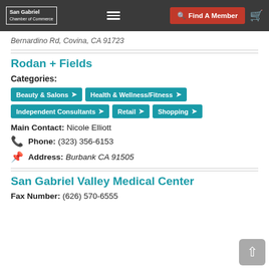San Gabriel Chamber of Commerce — Find A Member
Bernardino Rd, Covina, CA 91723
Rodan + Fields
Categories:
Beauty & Salons
Health & Wellness/Fitness
Independent Consultants
Retail
Shopping
Main Contact: Nicole Elliott
Phone: (323) 356-6153
Address: Burbank CA 91505
San Gabriel Valley Medical Center
Fax Number: (626) 570-6555